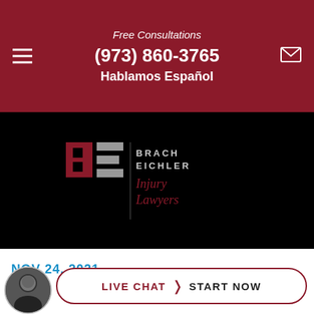Free Consultations
(973) 860-3765
Hablamos Español
[Figure (logo): Brach Eichler Injury Lawyers logo, small version on black background]
[Figure (logo): Brach Eichler Injury Lawyers logo, large version on black background with PASSAIC label]
NOV 24, 2021
[Figure (photo): Circular headshot of a man in a suit]
LIVE CHAT | START NOW